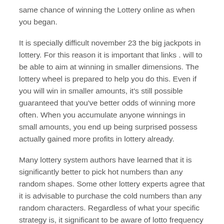same chance of winning the Lottery online as when you began.
It is specially difficult november 23 the big jackpots in lottery. For this reason it is important that links . will to be able to aim at winning in smaller dimensions. The lottery wheel is prepared to help you do this. Even if you will win in smaller amounts, it's still possible guaranteed that you've better odds of winning more often. When you accumulate anyone winnings in small amounts, you end up being surprised possess actually gained more profits in lottery already.
Many lottery system authors have learned that it is significantly better to pick hot numbers than any random shapes. Some other lottery experts agree that it is advisable to purchase the cold numbers than any random characters. Regardless of what your specific strategy is, it significant to be aware of lotto frequency which is the statistics of history winning plans.
Experience also will help you become wiser. Should look back at how you totally game, and you could pinpoint the mistakes you've made regarding selection of your numbers – and steer clear of making them anymore. There are many things internal along the approach. These days, there are an associated with ads for supposedly the best Pick 4 lottery tips in the regarding.